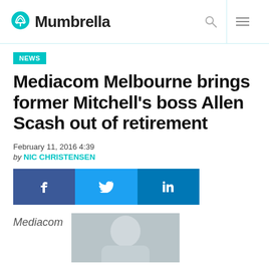Mumbrella
NEWS
Mediacom Melbourne brings former Mitchell's boss Allen Scash out of retirement
February 11, 2016 4:39
by NIC CHRISTENSEN
[Figure (infographic): Social sharing buttons: Facebook (f), Twitter (bird icon), LinkedIn (in)]
Mediacom